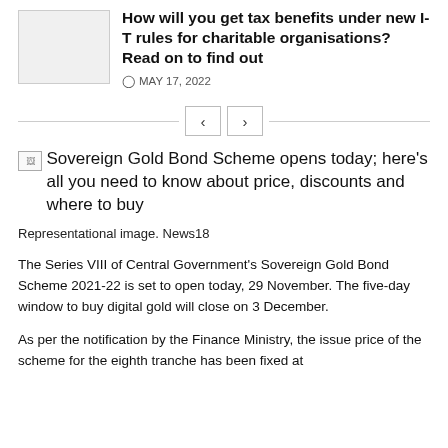How will you get tax benefits under new I-T rules for charitable organisations? Read on to find out
MAY 17, 2022
[Figure (other): Navigation arrows (left and right) with horizontal divider line]
Sovereign Gold Bond Scheme opens today; here's all you need to know about price, discounts and where to buy
Representational image. News18
The Series VIII of Central Government's Sovereign Gold Bond Scheme 2021-22 is set to open today, 29 November. The five-day window to buy digital gold will close on 3 December.
As per the notification by the Finance Ministry, the issue price of the scheme for the eighth tranche has been fixed at